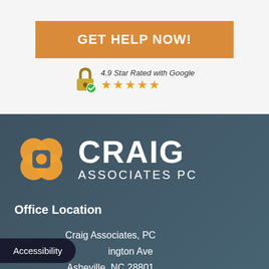GET HELP NOW!
[Figure (infographic): Padlock icon with green checkmark and star rating: 4.9 Star Rated with Google, five orange stars]
[Figure (logo): Craig Associates PC logo with orange interlocking circles icon and white text CRAIG ASSOCIATES PC]
Office Location
Craig Associates, PC
[Washington] Ave
Asheville, NC 28801
Accessibility